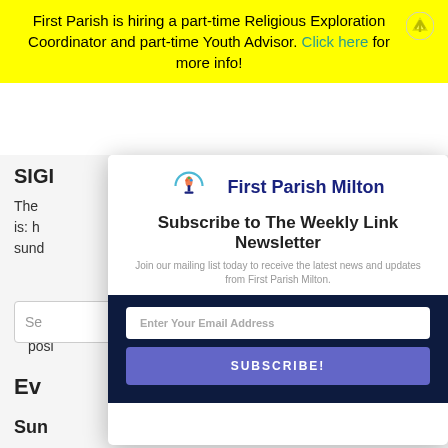First Parish is hiring a part-time Religious Exploration Coordinator and part-time Youth Advisor. Click here for more info!
SIGI
The ... is: h ... 2- sund
[Figure (logo): First Parish Milton logo with flame/chalice icon and blue text]
Subscribe to The Weekly Link Newsletter
Join our mailing list today to receive the latest news and updates from First Parish Milton.
Enter Your Email Address
SUBSCRIBE!
Ev
Sun